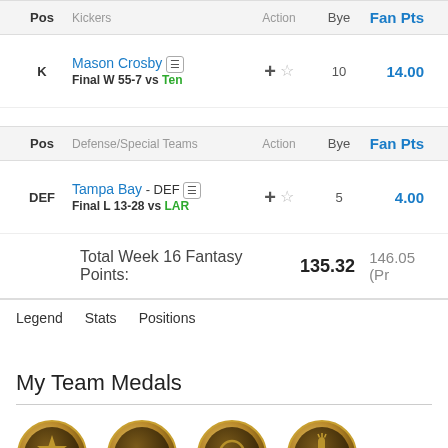| Pos | Kickers | Action | Bye | Fan Pts |
| --- | --- | --- | --- | --- |
| K | Mason Crosby | Final W 55-7 vs Ten | +☆ | 10 | 14.00 |
| Pos | Defense/Special Teams | Action | Bye | Fan Pts |
| --- | --- | --- | --- | --- |
| DEF | Tampa Bay - DEF | Final L 13-28 vs LAR | +☆ | 5 | 4.00 |
Total Week 16 Fantasy Points: 135.32   146.05 (Pr
Legend
Stats
Positions
My Team Medals
[Figure (illustration): Four bronze/gold medal coins with icons: star, handshake, ribbon with number 5, pointing finger]